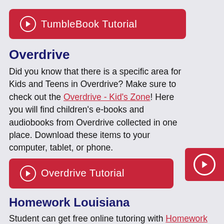[Figure (other): Red button with play icon labeled 'TumbleBook Tutorial']
Overdrive
Did you know that there is a specific area for Kids and Teens in Overdrive? Make sure to check out the Overdrive - Kid's Zone! Here you will find children's e-books and audiobooks from Overdrive collected in one place. Download these items to your computer, tablet, or phone.
[Figure (other): Floating red play button on right edge]
[Figure (other): Red button with play icon labeled 'Overdrive Tutorial']
Homework Louisiana
Student can get free online tutoring with Homework Louisiana. This tutoring is available for students in grades K-12.
[Figure (other): Red button with play icon labeled 'Homework LA Tutorial' (partially visible)]